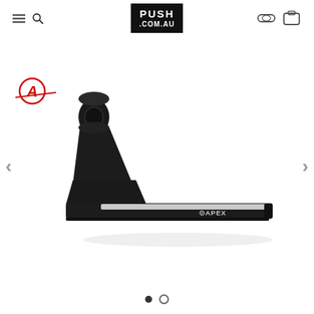PUSH .COM.AU
[Figure (photo): Apex scooter deck in matte black, shown at an angle displaying the headtube, neck, and deck with APEX branding. The Apex brand logo (circle with A inside, red and black) is visible in the upper left of the product area. Navigation arrows (< >) are on either side of the image.]
[Figure (other): Carousel dot navigation: one filled black dot and one empty circle dot indicating two slides.]